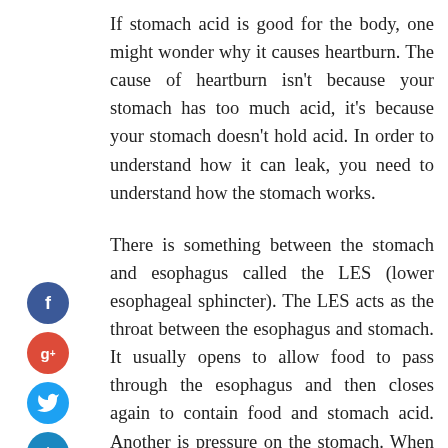If stomach acid is good for the body, one might wonder why it causes heartburn. The cause of heartburn isn't because your stomach has too much acid, it's because your stomach doesn't hold acid. In order to understand how it can leak, you need to understand how the stomach works.
[Figure (other): Social media sharing icons: Facebook (blue circle with f), Google+ (red circle with g+), Twitter (light blue circle with bird), and Add/share (dark blue circle with plus sign), arranged vertically on the left side of the page.]
There is something between the stomach and esophagus called the LES (lower esophageal sphincter). The LES acts as the throat between the esophagus and stomach. It usually opens to allow food to pass through the esophagus and then closes again to contain food and stomach acid. Another is pressure on the stomach. When you put pressure on the stomach, it decreases and the acid has to go somewhere